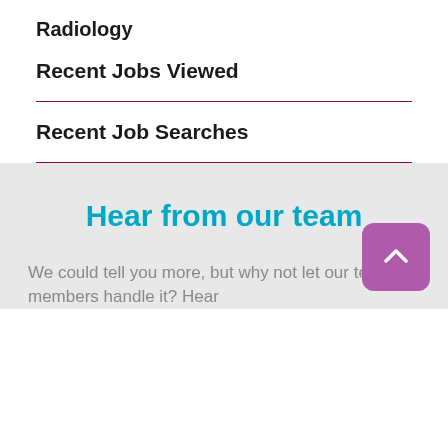Radiology
Recent Jobs Viewed
Recent Job Searches
Hear from our team
We could tell you more, but why not let our team members handle it? Hear